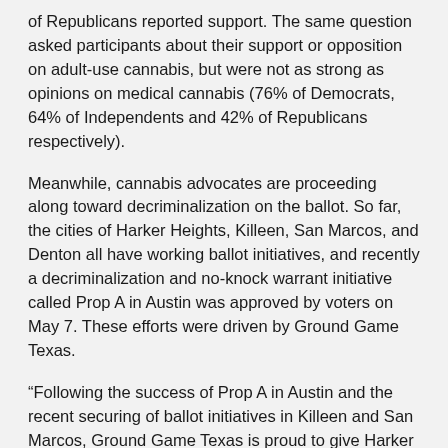of Republicans reported support. The same question asked participants about their support or opposition on adult-use cannabis, but were not as strong as opinions on medical cannabis (76% of Democrats, 64% of Independents and 42% of Republicans respectively).
Meanwhile, cannabis advocates are proceeding along toward decriminalization on the ballot. So far, the cities of Harker Heights, Killeen, San Marcos, and Denton all have working ballot initiatives, and recently a decriminalization and no-knock warrant initiative called Prop A in Austin was approved by voters on May 7. These efforts were driven by Ground Game Texas.
“Following the success of Prop A in Austin and the recent securing of ballot initiatives in Killeen and San Marcos, Ground Game Texas is proud to give Harker Heights residents the opportunity to decriminalize marijuana,” said Ground Game Texas’s Executive Director Julie Oliver in a press release.
“Ground Game Texas continues to demonstrate that popular policies around issues like workers, wages, and weed can help expand and electrify the electorate in Texas when they’re put directly in front of voters.”